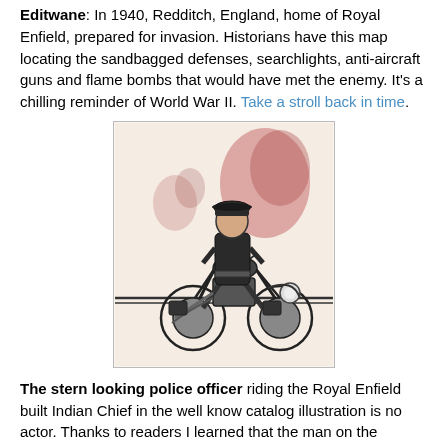Editwane: In 1940, Redditch, England, home of Royal Enfield, prepared for invasion. Historians have this map locating the sandbagged defenses, searchlights, anti-aircraft guns and flame bombs that would have met the enemy. It's a chilling reminder of World War II. Take a stroll back in time.
[Figure (illustration): A vintage catalog illustration of a stern-looking police officer in uniform riding a Royal Enfield built Indian Chief motorcycle, with reddish floral/tree background elements.]
The stern looking police officer riding the Royal Enfield built Indian Chief in the well know catalog illustration is no actor. Thanks to readers I learned that the man on the motorcycle was Officer John Barkman of the Longmeadow, Mass. Police Department. He served the department from 1951-1974. Get the full story.